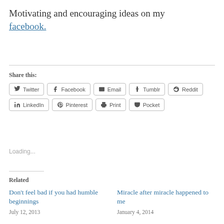Motivating and encouraging ideas on my facebook.
Share this:
[Figure (other): Social sharing buttons: Twitter, Facebook, Email, Tumblr, Reddit, LinkedIn, Pinterest, Print, Pocket]
Loading...
Related
Don't feel bad if you had humble beginnings
July 12, 2013
Miracle after miracle happened to me
January 4, 2014